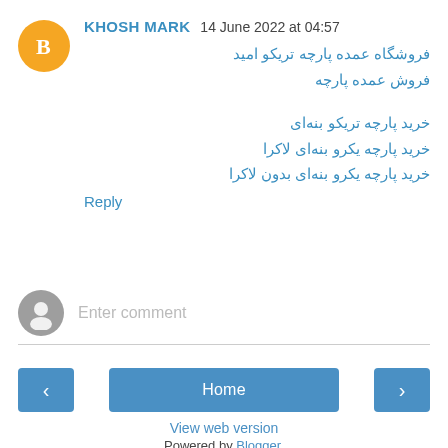KHOSH MARK  14 June 2022 at 04:57
فروشگاه عمده پارچه تریکو امید
فروش عمده پارچه
خرید پارچه تریکو بنه‌ای
خرید پارچه یکرو بنه‌ای لاکرا
خرید پارچه یکرو بنه‌ای بدون لاکرا
Reply
Enter comment
Home
View web version
Powered by Blogger.